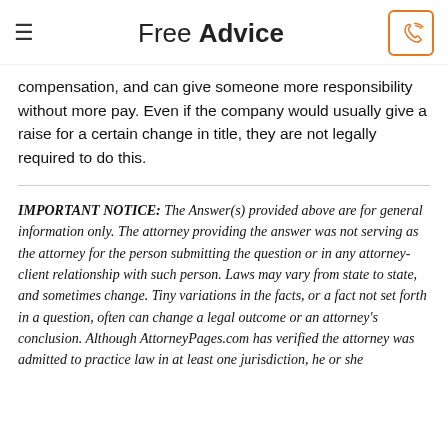Free Advice
compensation, and can give someone more responsibility without more pay. Even if the company would usually give a raise for a certain change in title, they are not legally required to do this.
IMPORTANT NOTICE: The Answer(s) provided above are for general information only. The attorney providing the answer was not serving as the attorney for the person submitting the question or in any attorney-client relationship with such person. Laws may vary from state to state, and sometimes change. Tiny variations in the facts, or a fact not set forth in a question, often can change a legal outcome or an attorney's conclusion. Although AttorneyPages.com has verified the attorney was admitted to practice law in at least one jurisdiction, he or she